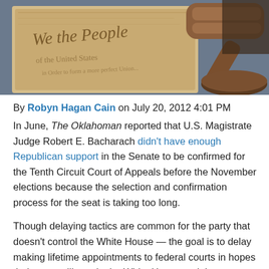[Figure (photo): Photo of the US Constitution 'We the People' parchment document alongside a wooden judge's gavel on a dark surface]
By Robyn Hagan Cain on July 20, 2012 4:01 PM
In June, The Oklahoman reported that U.S. Magistrate Judge Robert E. Bacharach didn't have enough Republican support in the Senate to be confirmed for the Tenth Circuit Court of Appeals before the November elections because the selection and confirmation process for the seat is taking too long.
Though delaying tactics are common for the party that doesn't control the White House — the goal is to delay making lifetime appointments to federal courts in hopes their party will regain the White House and the power to fill judicial vacancies — Oklahoma legal leaders are urging the state's U.S. senators to use their "considerable influence" to